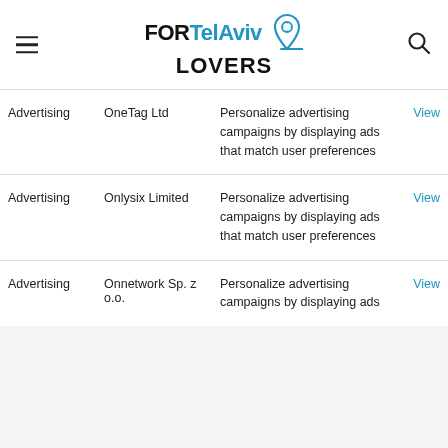FORTelAviv LOVERS
| Category | Name | Description |  |
| --- | --- | --- | --- |
| Advertising | OneTag Ltd | Personalize advertising campaigns by displaying ads that match user preferences | View |
| Advertising | Onlysix Limited | Personalize advertising campaigns by displaying ads that match user preferences | View |
| Advertising | Onnetwork Sp. z o.o. | Personalize advertising campaigns by displaying ads... | View |